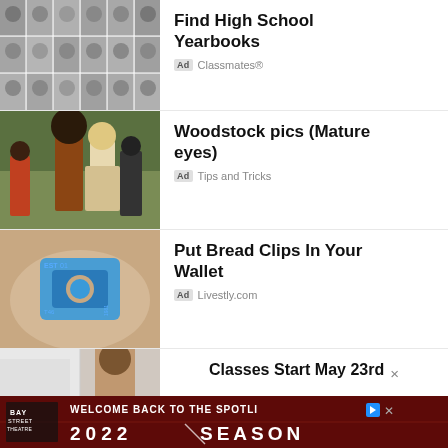[Figure (photo): Grid of black-and-white high school yearbook portrait photos, 3 rows of 6 students]
Find High School Yearbooks
Ad Classmates®
[Figure (photo): Color photo of Woodstock festival attendees, people with afros and long hair outdoors]
Woodstock pics (Mature eyes)
Ad Tips and Tricks
[Figure (photo): Close-up photo of a blue bread clip/tag held in fingers, with text EST 01 and numbers]
Put Bread Clips In Your Wallet
Ad Livestly.com
[Figure (photo): Partial photo of a person with curly hair, partially visible]
Classes Start May 23rd
[Figure (photo): Bottom banner ad: Welcome Back to the Spotlight - Bay Street Theatre 2022 Season on dark red background]